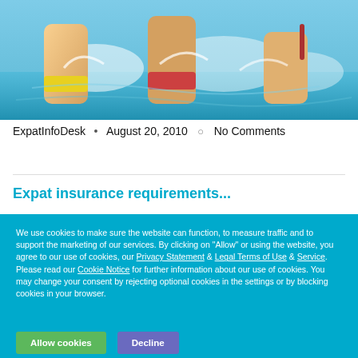[Figure (photo): Women in swimwear running through water at a beach or pool, splashing water around them.]
ExpatInfoDesk • August 20, 2010 ○ No Comments
Expat insurance...
We use cookies to make sure the website can function, to measure traffic and to support the marketing of our services. By clicking on "Allow" or using the website, you agree to our use of cookies, our Privacy Statement & Legal Terms of Use & Service. Please read our Cookie Notice for further information about our use of cookies. You may change your consent by rejecting optional cookies in the settings or by blocking cookies in your browser.
Allow cookies   Decline